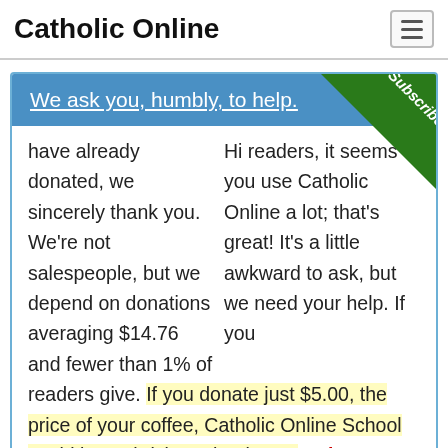Catholic Online
We ask you, humbly, to help.
Hi readers, it seems you use Catholic Online a lot; that's great! It's a little awkward to ask, but we need your help. If you have already donated, we sincerely thank you. We're not salespeople, but we depend on donations averaging $14.76 and fewer than 1% of readers give. If you donate just $5.00, the price of your coffee, Catholic Online School could keep thriving. Thank you. Help Now >
Lismore